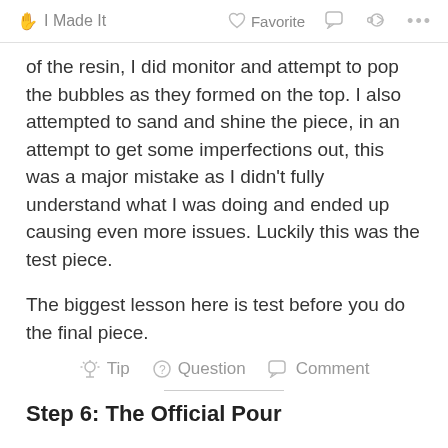✋ I Made It   ♡ Favorite   💬   ⋯
of the resin, I did monitor and attempt to pop the bubbles as they formed on the top. I also attempted to sand and shine the piece, in an attempt to get some imperfections out, this was a major mistake as I didn't fully understand what I was doing and ended up causing even more issues. Luckily this was the test piece.
The biggest lesson here is test before you do the final piece.
💡 Tip   ❓ Question   💬 Comment
Step 6: The Official Pour